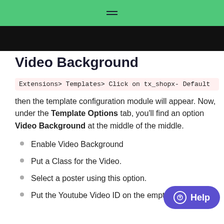[Figure (screenshot): Website header with green navigation bar showing hamburger menu icon, and black banner below it]
Video Background
Extensions> Templates> Click on tx_shopx- Default then the template configuration module will appear. Now, under the Template Options tab, you'll find an option Video Background at the middle of the middle.
Enable Video Background
Put a Class for the Video.
Select a poster using this option.
Put the Youtube Video ID on the empty text box.